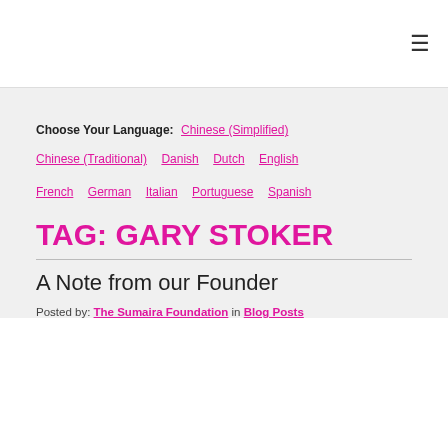≡
Choose Your Language: Chinese (Simplified) Chinese (Traditional) Danish Dutch English French German Italian Portuguese Spanish
TAG: GARY STOKER
A Note from our Founder
Posted by: The Sumaira Foundation in Blog Posts